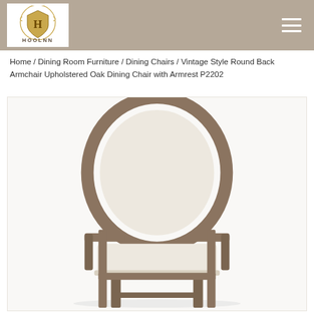HOOLNN furniture website header with logo and hamburger menu
Home / Dining Room Furniture / Dining Chairs / Vintage Style Round Back Armchair Upholstered Oak Dining Chair with Armrest P2202
[Figure (photo): Product photo of a vintage-style round back armchair with upholstered cream/beige seat and oval back panel, wooden oak frame in grey-brown finish, with armrests. Front view against white background.]